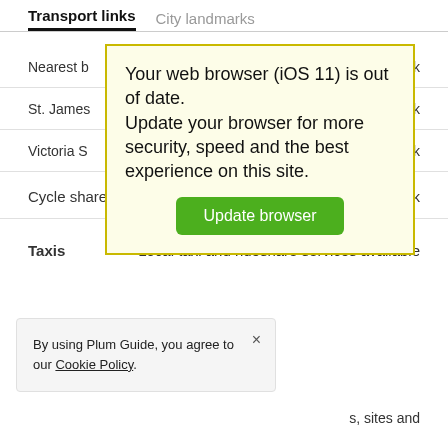Transport links   City landmarks
Nearest b ... alk
St. James ... alk
Victoria S ... alk
[Figure (screenshot): Browser update warning popup with yellow background. Text: 'Your web browser (iOS 11) is out of date. Update your browser for more security, speed and the best experience on this site.' Green button labeled 'Update browser'.]
Cycle share   1 min walk
Taxis   Local taxi and rideshare services available
By using Plum Guide, you agree to our Cookie Policy.
s, sites and